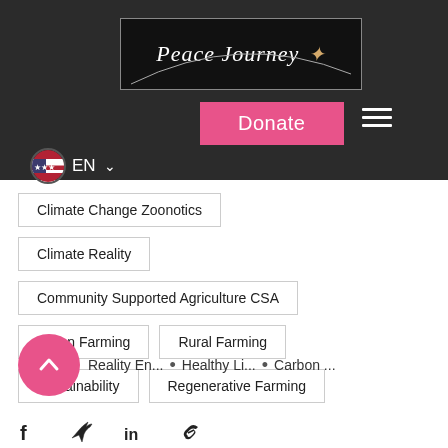[Figure (logo): Peace Journey logo on black background with arc decoration and star]
Donate
EN
Climate Change Zoonotics
Climate Reality
Community Supported Agriculture CSA
Urban Farming
Rural Farming
Sustainability
Regenerative Farming
Reality En... • Healthy Li... • Carbon ...